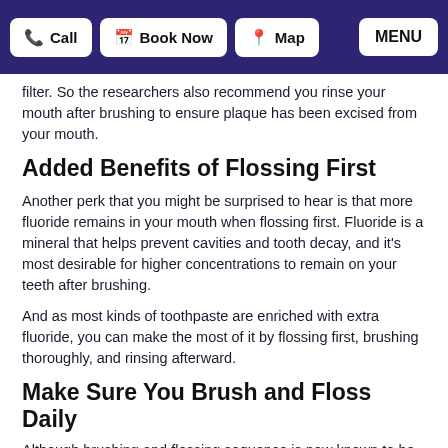Call | Book Now | Map | MENU
filter. So the researchers also recommend you rinse your mouth after brushing to ensure plaque has been excised from your mouth.
Added Benefits of Flossing First
Another perk that you might be surprised to hear is that more fluoride remains in your mouth when flossing first. Fluoride is a mineral that helps prevent cavities and tooth decay, and it's most desirable for higher concentrations to remain on your teeth after brushing.
And as most kinds of toothpaste are enriched with extra fluoride, you can make the most of it by flossing first, brushing thoroughly, and rinsing afterward.
Make Sure You Brush and Floss Daily
Although brushing and flossing sequence is now known to be necessary, everyone on the team at Elk Grove Smile Center agrees that it's most important to do both at least twice each day.